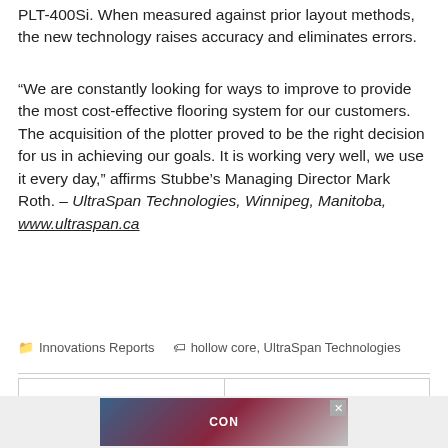PLT-400Si. When measured against prior layout methods, the new technology raises accuracy and eliminates errors.
“We are constantly looking for ways to improve to provide the most cost-effective flooring system for our customers. The acquisition of the plotter proved to be the right decision for us in achieving our goals. It is working very well, we use it every day,” affirms Stubbe’s Managing Director Mark Roth. – UltraSpan Technologies, Winnipeg, Manitoba, www.ultraspan.ca
Innovations Reports   hollow core, UltraSpan Technologies
« InWhite Solutions series advances sustainability, UHPC practice
Finfrock Technologies expands paperless platform to the field »
[Figure (other): Advertisement banner at bottom of page]